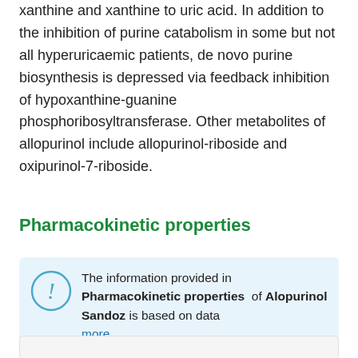xanthine and xanthine to uric acid. In addition to the inhibition of purine catabolism in some but not all hyperuricaemic patients, de novo purine biosynthesis is depressed via feedback inhibition of hypoxanthine-guanine phosphoribosyltransferase. Other metabolites of allopurinol include allopurinol-riboside and oxipurinol-7-riboside.
Pharmacokinetic properties
The information provided in Pharmacokinetic properties of Alopurinol Sandoz is based on data more...